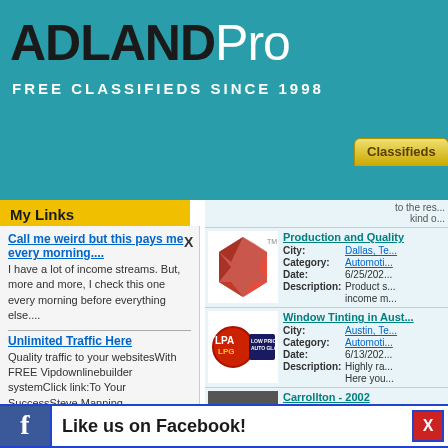ADLANDPro — FREE CLASSIFIEDS SINCE 1998
My Links
Call me weird but this pays me every morning.... — I have a lot of income streams. But, more and more, I check this one every morning before everything else....
Unlimited Traffic Here — Quality traffic to your websitesWith FREE Vipdownlinebuilder systemClick link:To Your SuccessSteve Manning
Listen UP: Here's The Fastest Way To Making Mon... — Discover The Fastest Way To Making Money Online From The In... With No Experience, W... #1 Web-
to the res... kind o...
Production and Quality
City: Dallas, Te... Category: Automoti... Date: 6/25/202... Description: Product s... income m... productio... such as P...
Window Tinting in Aust...
City: Austin, Te... Category: Automoti... Date: 6/13/202... Description: Highly ra... Here you... experiene...
Carrollton - 2002
City: Carrollton... Category: Automoti... Date: 5/18/202... Description: Chavez to... can help... owing ve... our ...
Like us on Facebook!